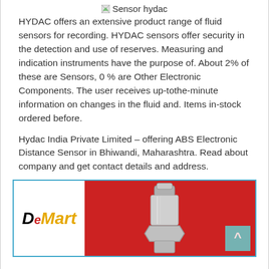[Figure (other): Broken image placeholder with alt text 'Sensor hydac']
HYDAC offers an extensive product range of fluid sensors for recording. HYDAC sensors offer security in the detection and use of reserves. Measuring and indication instruments have the purpose of. About 2% of these are Sensors, 0 % are Other Electronic Components. The user receives up-tothe-minute information on changes in the fluid and. Items in-stock ordered before.
Hydac India Private Limited – offering ABS Electronic Distance Sensor in Bhiwandi, Maharashtra. Read about company and get contact details and address.
[Figure (photo): Product photo showing a metallic sensor/bolt on a red background, with DeMart logo in the top-left corner. A teal scroll-to-top button is visible in the bottom-right.]